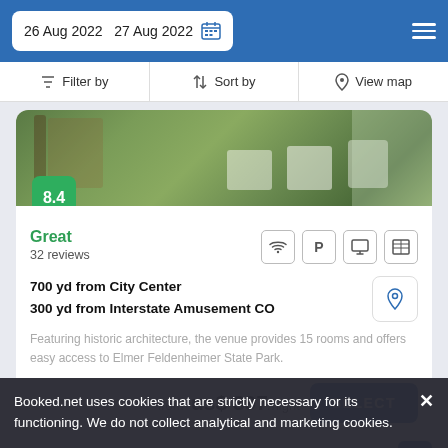26 Aug 2022  27 Aug 2022
Filter by  Sort by  View map
[Figure (photo): Outdoor patio area of a hotel with wooden structures, white Adirondack chairs, and green landscaping]
8.4
Great
32 reviews
700 yd from City Center
300 yd from Interstate Amusement CO
Featuring historic architecture, the venue provides 15 rooms and offers easy access to Elmer Feldenheimer State Park.
from us$ 397/night
SELECT
Ocean Pro Motel
Booked.net uses cookies that are strictly necessary for its functioning. We do not collect analytical and marketing cookies.